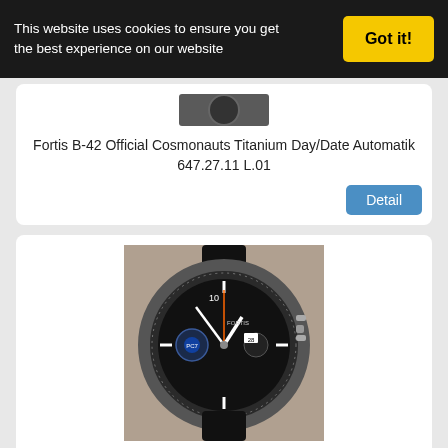This website uses cookies to ensure you get the best experience on our website
Got it!
[Figure (photo): Partial top view of a watch crown/strap]
Fortis B-42 Official Cosmonauts Titanium Day/Date Automatik 647.27.11 L.01
Detail
[Figure (photo): Fortis B-42 PC 7 Team watch with black dial, tachymeter bezel, chronograph pushers, and blue PC7 logo subdial]
Fortis B-42 PC 7 Team Limited Edition 42mm 638.10.91 L.01 NEU UVP: 3190€
Detail
[Figure (photo): Partial view of another Fortis B-42 PC7 Team watch, similar black chronograph]